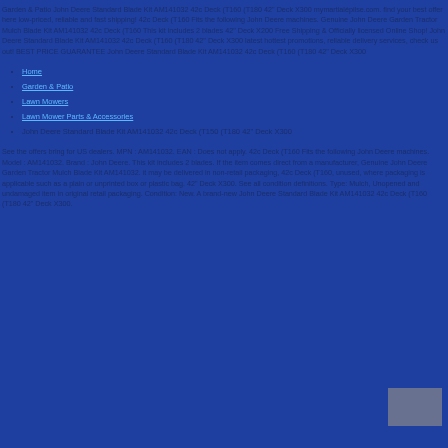Garden & Patio John Deere Standard Blade Kit AM141032 42c Deck (T160 (T180 42" Deck X300 mymartialépilse.com. find your best offer here low-priced, reliable and fast shipping! 42c Deck (T160 Fits the following John Deere machines. Genuine John Deere Garden Tractor Mulch Blade Kit AM141032 42c Deck (T160 This kit includes 2 blades 42" Deck X200 Free Shipping & Officially licensed Online Shop! John Deere Standard Blade Kit AM141032 42c Deck (T160 (T180 42" Deck X300 latest hottest promotions, reliable delivery services, check us out! BEST PRICE GUARANTEE John Deere Standard Blade Kit AM141032 42c Deck (T160 (T180 42" Deck X300
Home
Garden & Patio
Lawn Mowers
Lawn Mower Parts & Accessories
John Deere Standard Blade Kit AM141032 42c Deck (T150 (T180 42" Deck X300
See the offers bring for US dealers. MPN : AM141032. EAN : Does not apply. 42c Deck (T160 Fits the following John Deere machines. Model : AM141032. Brand : John Deere. This kit includes 2 blades. If the item comes direct from a manufacturer, Genuine John Deere Garden Tractor Mulch Blade Kit AM141032. it may be delivered in non-retail packaging, 42c Deck (T160, unused, where packaging is applicable such as a plain or unprinted box or plastic bag. 42" Deck X300. See all condition definitions. Type: Mulch, Unopened and undamaged item in original retail packaging. Condition: New. A brand-new John Deere Standard Blade Kit AM141032 42c Deck (T160 (T180 42" Deck X300.